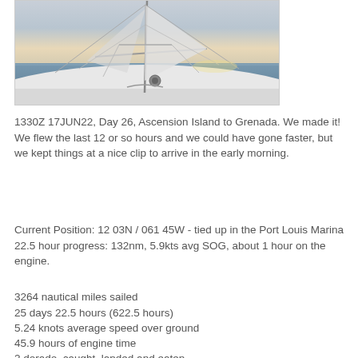[Figure (photo): View from the deck of a sailboat at sea, showing mast, boom, rigging, and sails with a calm ocean and sunset sky in the background.]
1330Z 17JUN22, Day 26, Ascension Island to Grenada. We made it! We flew the last 12 or so hours and we could have gone faster, but we kept things at a nice clip to arrive in the early morning.
Current Position: 12 03N / 061 45W - tied up in the Port Louis Marina
22.5 hour progress: 132nm, 5.9kts avg SOG, about 1 hour on the engine.
3264 nautical miles sailed
25 days 22.5 hours (622.5 hours)
5.24 knots average speed over ground
45.9 hours of engine time
2 dorado, caught, landed and eaten